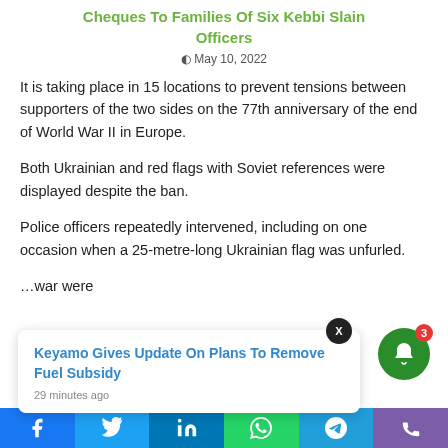Cheques To Families Of Six Kebbi Slain Officers
May 10, 2022
It is taking place in 15 locations to prevent tensions between supporters of the two sides on the 77th anniversary of the end of World War II in Europe.
Both Ukrainian and red flags with Soviet references were displayed despite the ban.
Police officers repeatedly intervened, including on one occasion when a 25-metre-long Ukrainian flag was unfurled.
...war were
Keyamo Gives Update On Plans To Remove Fuel Subsidy
29 minutes ago